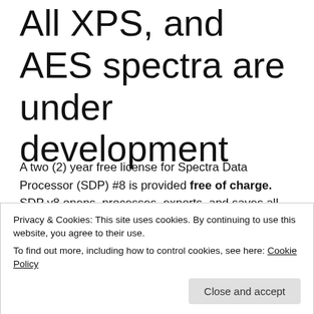All XPS, and AES spectra are under development
A two (2) year free license for Spectra Data Processor (SDP) #8 is provided free of charge. SDP v8 opens, processes, exports, and saves all processing to permanent memory. There are 54 self-training videos for SDP.
Privacy & Cookies: This site uses cookies. By continuing to use this website, you agree to their use.
To find out more, including how to control cookies, see here: Cookie Policy